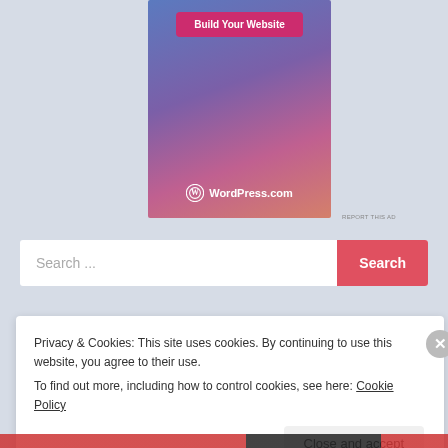[Figure (screenshot): WordPress.com advertisement banner with gradient blue-pink background, 'Build Your Website' pink button, and WordPress.com logo at bottom]
REPORT THIS AD
Search ...
Search
Privacy & Cookies: This site uses cookies. By continuing to use this website, you agree to their use.
To find out more, including how to control cookies, see here: Cookie Policy
Close and accept